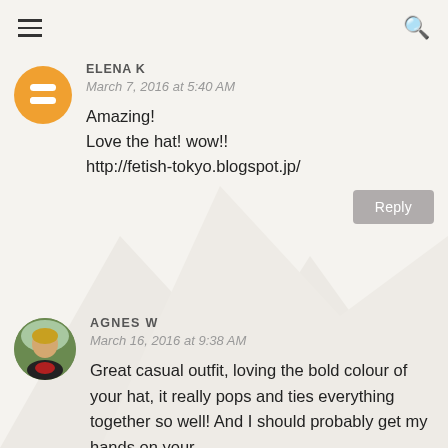Navigation bar with hamburger menu and search icon
ELENA K
March 7, 2016 at 5:40 AM
Amazing!
Love the hat! wow!!
http://fetish-tokyo.blogspot.jp/
Reply
AGNES W
March 16, 2016 at 9:38 AM
Great casual outfit, loving the bold colour of your hat, it really pops and ties everything together so well! And I should probably get my hands on your